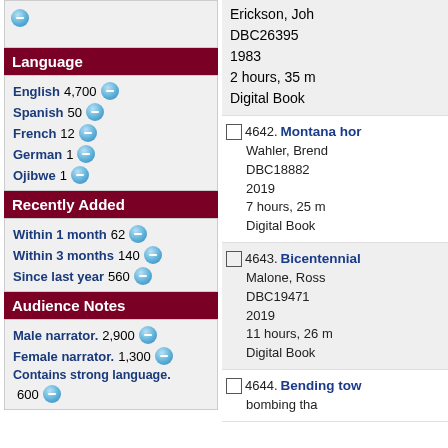Language
English 4,700
Spanish 50
French 12
German 1
Ojibwe 1
Recently Added
Within 1 month 62
Within 3 months 140
Since last year 560
Audience Notes
Male narrator. 2,900
Female narrator. 1,300
Contains strong language. 600
Erickson, Joh
DBC26395
1983
2 hours, 35 m
Digital Book
4642. Montana hor
Wahler, Brend
DBC18882
2019
7 hours, 25 m
Digital Book
4643. Bicentennial
Malone, Ross
DBC19471
2019
11 hours, 26 m
Digital Book
4644. Bending tow
bombing tha